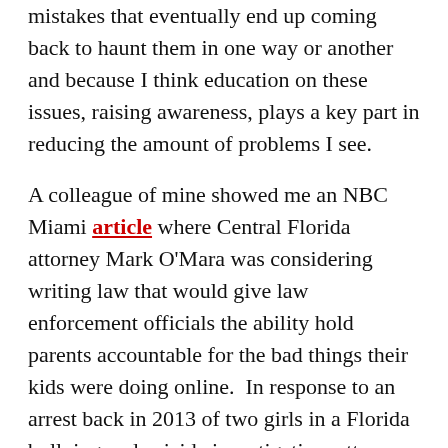mistakes that eventually end up coming back to haunt them in one way or another and because I think education on these issues, raising awareness, plays a key part in reducing the amount of problems I see.
A colleague of mine showed me an NBC Miami article where Central Florida attorney Mark O'Mara was considering writing law that would give law enforcement officials the ability hold parents accountable for the bad things their kids were doing online.  In response to an arrest back in 2013 of two girls in a Florida bullying and suicide investigation, attorney O'Mara wrote on his blog:
The question is this: is their ignorance and apathy about their daughter's cyber-bullying criminal? Under our current laws, it looks like the answer is "no." Should that sort of willful blindness or gross negligence be criminal? I think it should, and here's